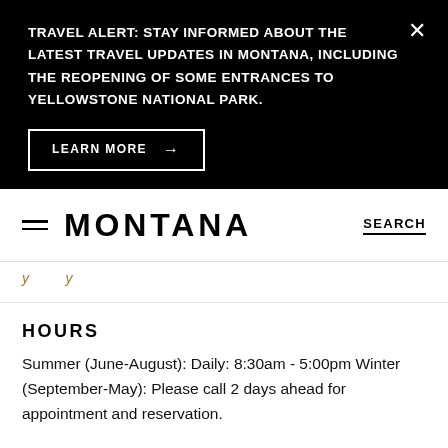TRAVEL ALERT: STAY INFORMED ABOUT THE LATEST TRAVEL UPDATES IN MONTANA, INCLUDING THE REOPENING OF SOME ENTRANCES TO YELLOWSTONE NATIONAL PARK.
LEARN MORE →
MONTANA  SEARCH
(partial cropped text)
HOURS
Summer (June-August): Daily: 8:30am - 5:00pm Winter (September-May): Please call 2 days ahead for appointment and reservation.